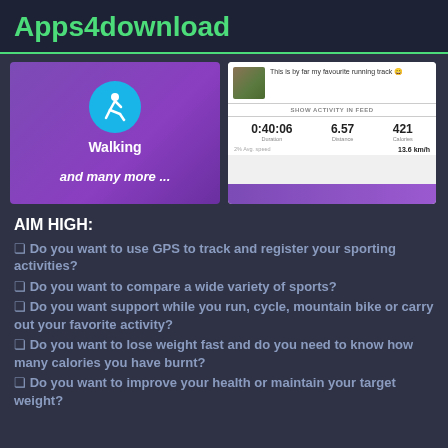Apps4download
[Figure (screenshot): Two app screenshots side by side: left shows a purple background with a blue circle walking icon labeled 'Walking' and 'and many more ...'; right shows a fitness activity feed with stats: Duration 0:40:06, Distance 6.57, Calories 421, avg speed 13.6 km/h]
AIM HIGH:
❏ Do you want to use GPS to track and register your sporting activities?
❏ Do you want to compare a wide variety of sports?
❏ Do you want support while you run, cycle, mountain bike or carry out your favorite activity?
❏ Do you want to lose weight fast and do you need to know how many calories you have burnt?
❏ Do you want to improve your health or maintain your target weight?